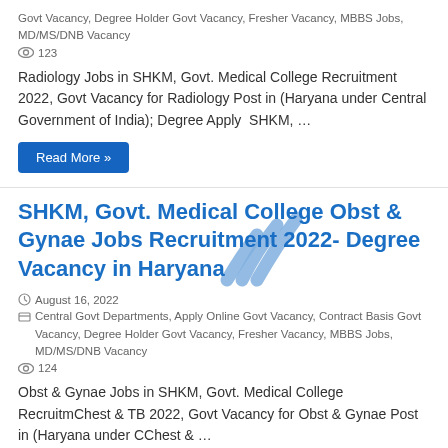Govt Vacancy, Degree Holder Govt Vacancy, Fresher Vacancy, MBBS Jobs, MD/MS/DNB Vacancy
👁 123
Radiology Jobs in SHKM, Govt. Medical College Recruitment 2022, Govt Vacancy for Radiology Post in (Haryana under Central Government of India); Degree Apply  SHKM, …
Read More »
SHKM, Govt. Medical College Obst & Gynae Jobs Recruitment 2022- Degree Vacancy in Haryana
August 16, 2022
Central Govt Departments, Apply Online Govt Vacancy, Contract Basis Govt Vacancy, Degree Holder Govt Vacancy, Fresher Vacancy, MBBS Jobs, MD/MS/DNB Vacancy
👁 124
Obst & Gynae Jobs in SHKM, Govt. Medical College RecruitmChest & TB 2022, Govt Vacancy for Obst & Gynae Post in (Haryana under CChest & …
Read More »